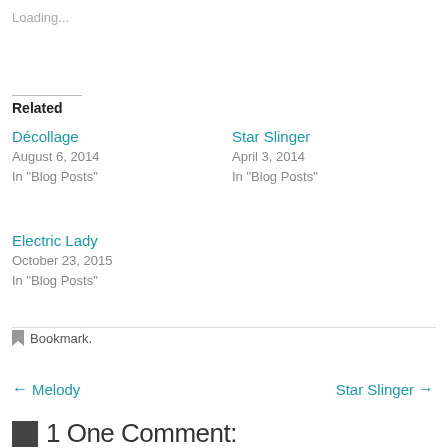Loading...
Related
Décollage
August 6, 2014
In "Blog Posts"
Star Slinger
April 3, 2014
In "Blog Posts"
Electric Lady
October 23, 2015
In "Blog Posts"
Bookmark.
← Melody
Star Slinger →
1 One Comment: